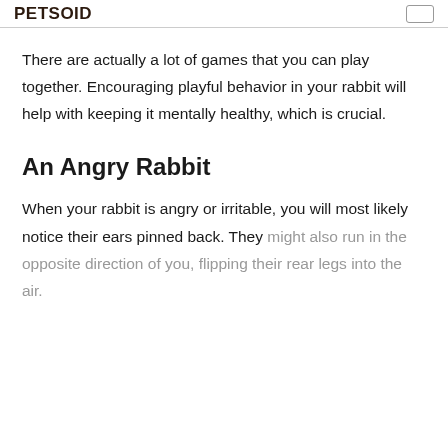PETSOID
There are actually a lot of games that you can play together. Encouraging playful behavior in your rabbit will help with keeping it mentally healthy, which is crucial.
An Angry Rabbit
When your rabbit is angry or irritable, you will most likely notice their ears pinned back. They might also run in the opposite direction of you, flipping their rear legs into the air.